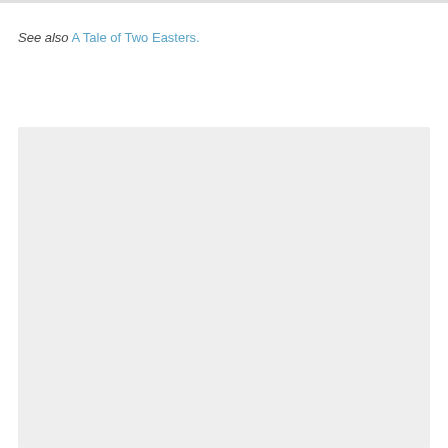See also A Tale of Two Easters.
[Figure (other): Large light gray rectangular placeholder box occupying the lower portion of the page.]